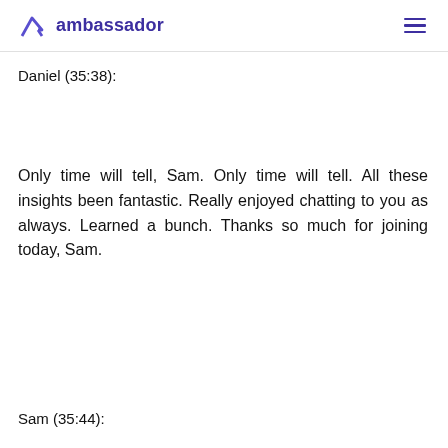ambassador
Daniel (35:38):
Only time will tell, Sam. Only time will tell. All these insights been fantastic. Really enjoyed chatting to you as always. Learned a bunch. Thanks so much for joining today, Sam.
Sam (35:44):